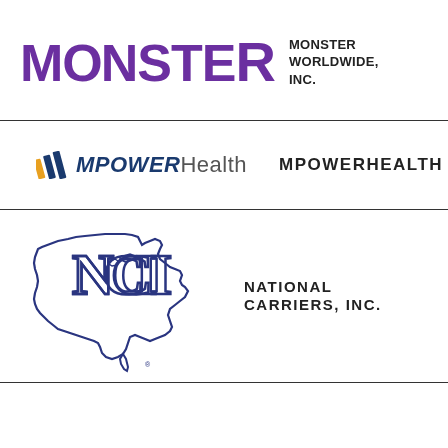[Figure (logo): Monster Worldwide Inc. logo — large purple bold uppercase MONSTER wordmark]
MONSTER WORLDWIDE, INC.
[Figure (logo): MPowerHealth logo with diagonal bar icon followed by MPOWER in bold italic dark blue and Health in gray]
MPOWERHEALTH
[Figure (logo): National Carriers Inc. logo — outline of USA map with NCI monogram letters overlaid in dark navy blue]
NATIONAL CARRIERS, INC.